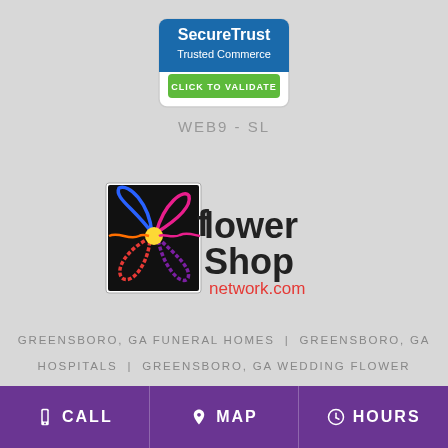[Figure (logo): SecureTrust Trusted Commerce - CLICK TO VALIDATE badge]
WEB9-SL
[Figure (logo): Flower Shop Network .com logo with colorful flower graphic]
GREENSBORO, GA FUNERAL HOMES | GREENSBORO, GA HOSPITALS | GREENSBORO, GA WEDDING FLOWER VENDORS GREENSBORO, GA WEATHER | GA STATE GOVERNMENT SITE PRIVACY POLICY | TERMS OF PURCHASE
CALL  MAP  HOURS